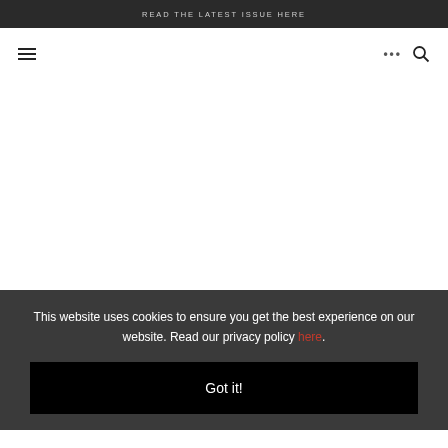READ THE LATEST ISSUE HERE
[Figure (other): Navigation bar with hamburger menu icon on left, ellipsis and search icon on right]
This website uses cookies to ensure you get the best experience on our website. Read our privacy policy here.
Got it!